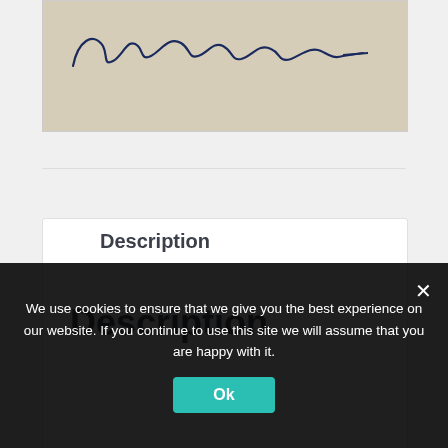[Figure (photo): A handwritten cursive signature in dark blue ink on a beige/tan paper background.]
Description
Description
We use cookies to ensure that we give you the best experience on our website. If you continue to use this site we will assume that you are happy with it.